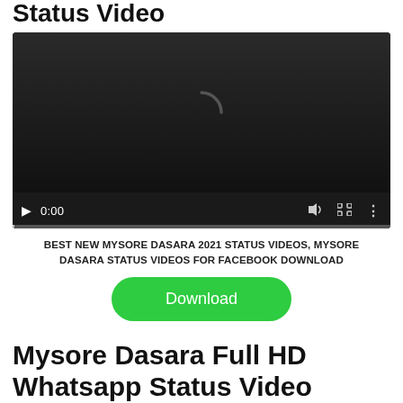Status Video
[Figure (screenshot): Video player in dark/loading state showing a loading spinner, play button, 0:00 timestamp, volume icon, fullscreen icon, and more options icon with a progress bar at bottom]
BEST NEW MYSORE DASARA 2021 STATUS VIDEOS, MYSORE DASARA STATUS VIDEOS FOR FACEBOOK DOWNLOAD
Download
Mysore Dasara Full HD Whatsapp Status Video